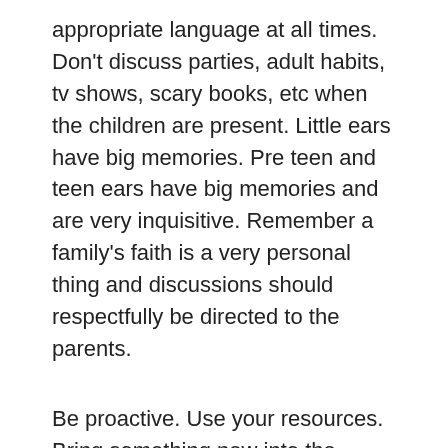appropriate language at all times. Don't discuss parties, adult habits, tv shows, scary books, etc when the children are present. Little ears have big memories. Pre teen and teen ears have big memories and are very inquisitive. Remember a family's faith is a very personal thing and discussions should respectfully be directed to the parents.
Be proactive. Use your resources. Bring something new into the house for activities, expanding growth. – Parents are happy to have new activities introduced to their children, as long as they are appropriate. Try new things and activities. The internet is filled with resources. Something new makes the day go faster and brings you closer to the children. Celebrate new accomplishments, hang art work on the walls to admire, have a special